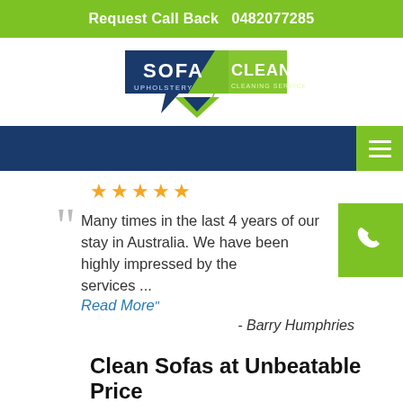Request Call Back  0482077285
[Figure (logo): Sofa Cleaning Upholstery Cleaning Services logo with dark blue and green speech bubble shapes]
[Figure (other): Dark blue navigation bar with green hamburger menu icon on right]
★★★★★
Many times in the last 4 years of our stay in Australia. We have been highly impressed by the services ... Read More"
- Barry Humphries
Clean Sofas at Unbeatable Price
★★★★☆
We have different kinds of sofas at our office – fabric and leather. We asked Squeaky Cleaners and they...